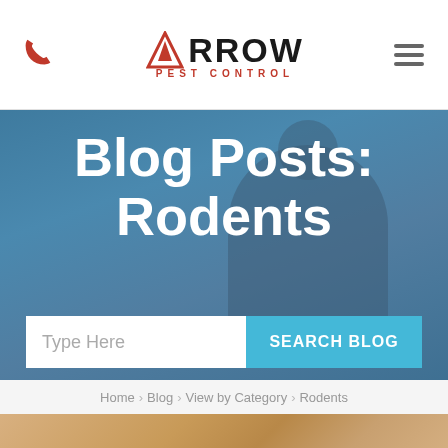Arrow Pest Control - phone icon, logo, hamburger menu
[Figure (screenshot): Arrow Pest Control website hero banner with person in uniform, showing Blog Posts: Rodents heading and search bar]
Blog Posts: Rodents
Type Here | SEARCH BLOG
Home › Blog › View by Category › Rodents
[Figure (photo): Bottom partial image strip showing warm beige/tan background, likely a blog post thumbnail]